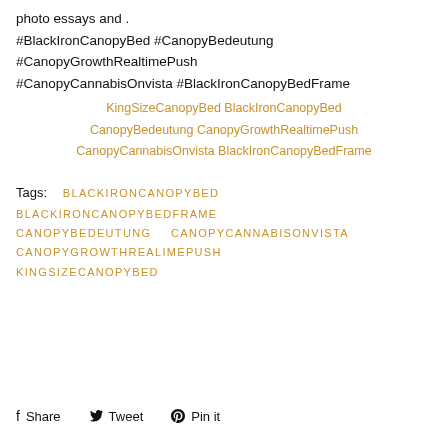photo essays and . #BlackIronCanopyBed #CanopyBedeutung #CanopyGrowthRealtimePush #CanopyCannabisOnvista #BlackIronCanopyBedFrame
KingSizeCanopyBed BlackIronCanopyBed CanopyBedeutung CanopyGrowthRealtimePush CanopyCannabisOnvista BlackIronCanopyBedFrame
Tags: BLACKIRONCANOPYBED BLACKIRONCANOPYBEDFRAME CANOPYBEDEUTUNG CANOPYCANNABISONVISTA CANOPYGROWTHREALIMEPUSH KINGSIZECANOPYBED
Share Tweet Pin it